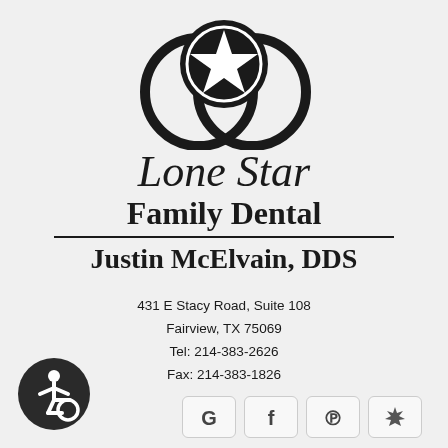[Figure (logo): Lone Star Family Dental logo: two overlapping tooth/molar outlines (rings) with a circle containing a white five-pointed star on dark background in the center top]
Lone Star Family Dental
Justin McElvain, DDS
431 E Stacy Road, Suite 108
Fairview, TX 75069
Tel: 214-383-2626
Fax: 214-383-1826
[Figure (illustration): Wheelchair accessibility icon — white figure in wheelchair on dark circle]
[Figure (logo): Social media icon buttons: Google (G), Facebook (f), Pinterest (P), Yelp (star/burst) in rounded square buttons]